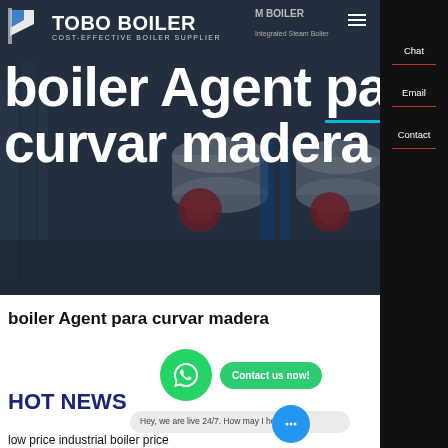TOBO BOILER — COST-EFFECTIVE BOILER SUPPLIER
[Figure (photo): Hero banner with dark overlay showing industrial steam boilers in blue tones, with company logo and large white bold title text 'boiler Agent para curvar madera']
boiler Agent para curvar madera
[Figure (illustration): WhatsApp green circle button and green 'Contact us now!' rounded button]
HOT NEWS
Hey, we are live 24/7. How may I help you?
low price industrial boiler price